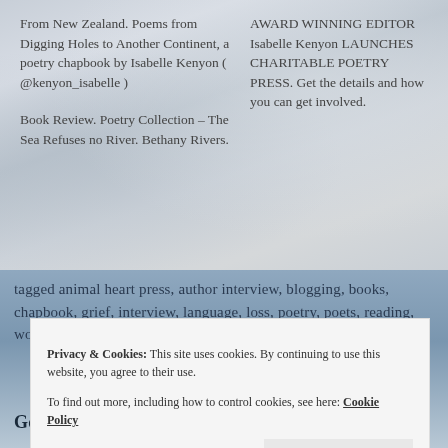From New Zealand. Poems from Digging Holes to Another Continent, a poetry chapbook by Isabelle Kenyon ( @kenyon_isabelle )
Book Review. Poetry Collection – The Sea Refuses no River. Bethany Rivers.
AWARD WINNING EDITOR Isabelle Kenyon LAUNCHES CHARITABLE POETRY PRESS. Get the details and how you can get involved.
tagged animal heart press, author interview, blogging, books, chapbook, grief, interview, language, loss, poetry, poets, reading, wordpress, writing
Privacy & Cookies: This site uses cookies. By continuing to use this website, you agree to their use. To find out more, including how to control cookies, see here: Cookie Policy
Close and accept
Going Home – Linda Crate